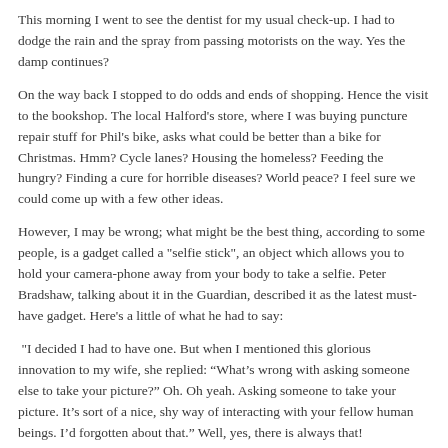This morning I went to see the dentist for my usual check-up. I had to dodge the rain and the spray from passing motorists on the way. Yes the damp continues?
On the way back I stopped to do odds and ends of shopping. Hence the visit to the bookshop. The local Halford's store, where I was buying puncture repair stuff for Phil's bike, asks what could be better than a bike for Christmas. Hmm? Cycle lanes? Housing the homeless? Feeding the hungry? Finding a cure for horrible diseases? World peace? I feel sure we could come up with a few other ideas.
However, I may be wrong; what might be the best thing, according to some people, is a gadget called a "selfie stick", an object which allows you to hold your camera-phone away from your body to take a selfie. Peter Bradshaw, talking about it in the Guardian, described it as the latest must-have gadget. Here's a little of what he had to say:
"I decided I had to have one. But when I mentioned this glorious innovation to my wife, she replied: “What’s wrong with asking someone else to take your picture?” Oh. Oh yeah. Asking someone to take your picture. It’s sort of a nice, shy way of interacting with your fellow human beings. I’d forgotten about that.” Well, yes, there is always that!
He went on to comment on the latest fashion in coffee drinking: coffee with